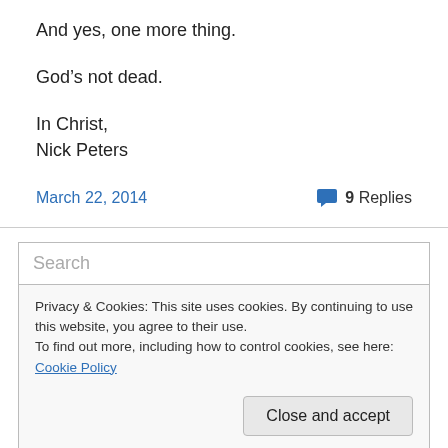And yes, one more thing.
God's not dead.
In Christ,
Nick Peters
March 22, 2014
9 Replies
Search
Privacy & Cookies: This site uses cookies. By continuing to use this website, you agree to their use.
To find out more, including how to control cookies, see here: Cookie Policy
Close and accept
View larger map